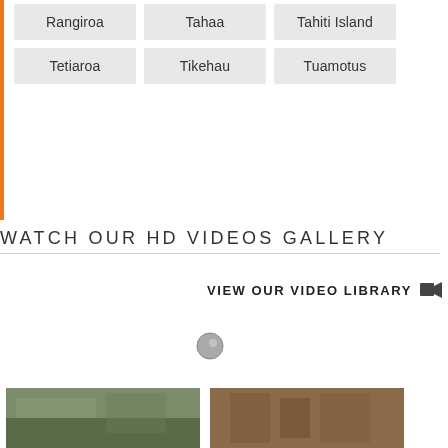Rangiroa | Tahaa | Tahiti Island | Tetiaroa | Tikehau | Tuamotus
WATCH OUR HD VIDEOS GALLERY
VIEW OUR VIDEO LIBRARY
[Figure (photo): Loading spinner / circle indicator]
[Figure (photo): Two video thumbnail images at the bottom of the page, showing travel/resort scenes]